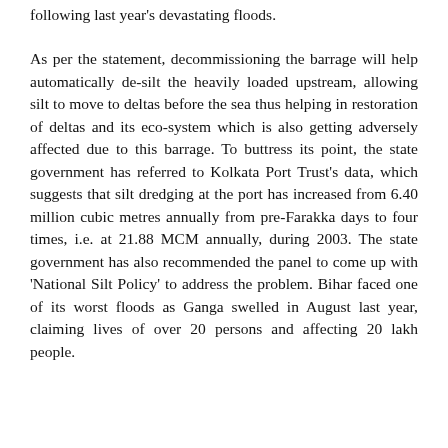following last year's devastating floods.
As per the statement, decommissioning the barrage will help automatically de-silt the heavily loaded upstream, allowing silt to move to deltas before the sea thus helping in restoration of deltas and its eco-system which is also getting adversely affected due to this barrage. To buttress its point, the state government has referred to Kolkata Port Trust's data, which suggests that silt dredging at the port has increased from 6.40 million cubic metres annually from pre-Farakka days to four times, i.e. at 21.88 MCM annually, during 2003. The state government has also recommended the panel to come up with 'National Silt Policy' to address the problem. Bihar faced one of its worst floods as Ganga swelled in August last year, claiming lives of over 20 persons and affecting 20 lakh people.